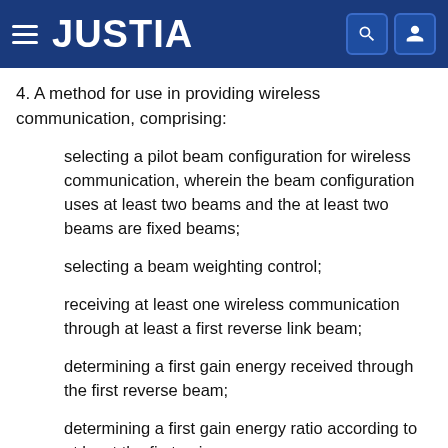JUSTIA
4. A method for use in providing wireless communication, comprising:
selecting a pilot beam configuration for wireless communication, wherein the beam configuration uses at least two beams and the at least two beams are fixed beams;
selecting a beam weighting control;
receiving at least one wireless communication through at least a first reverse link beam;
determining a first gain energy received through the first reverse beam;
determining a first gain energy ratio according to at least the first gain energy;